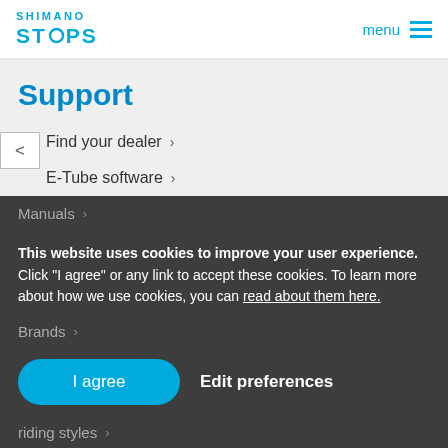SHIMANO STEPS — menu
Support
Find your dealer >
E-Tube software >
Manuals >
This website uses cookies to improve your user experience. Click "I agree" or any link to accept these cookies. To learn more about how we use cookies, you can read about them here.
Brands >
I agree   Edit preferences
riding styles >